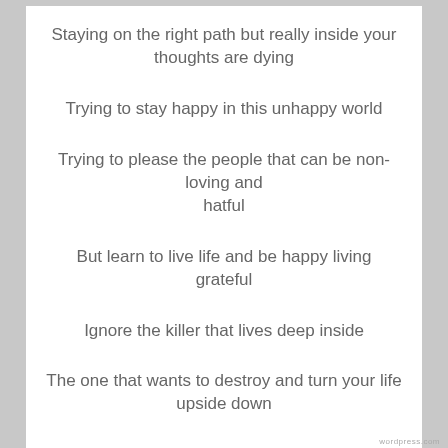Staying on the right path but really inside your thoughts are dying
Trying to stay happy in this unhappy world
Trying to please the people that can be non-loving and hatful
But learn to live life and be happy living grateful
Ignore the killer that lives deep inside
The one that wants to destroy and turn your life upside down
While you are walking the scums and filth of the
Privacy & Cookies: This site uses cookies. By continuing to use this website, you agree to their use.
To find out more, including how to control cookies, see here: Cookie Policy